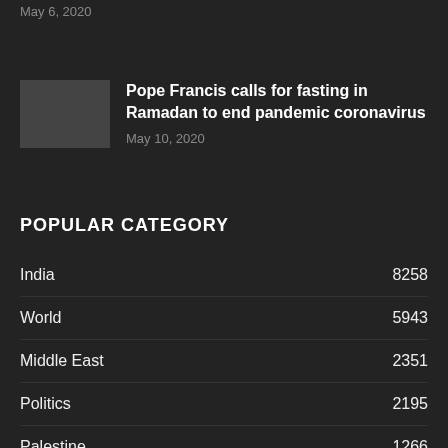May 6, 2020
Pope Francis calls for fasting in Ramadan to end pandemic coronavirus
May 10, 2020
POPULAR CATEGORY
India 8258
World 5943
Middle East 2351
Politics 2195
Palestine 1266
U.S. 1173
Hindi News 1055
Uttar Pradesh 738